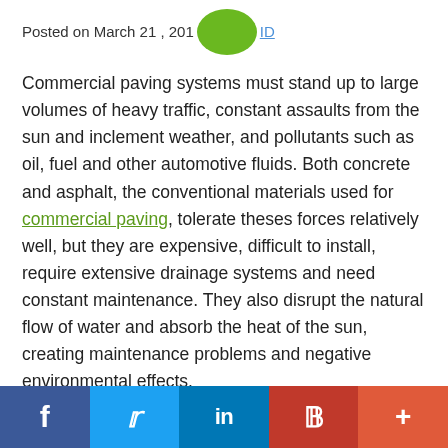Posted on March 21, 2016 by [avatar] ID
Commercial paving systems must stand up to large volumes of heavy traffic, constant assaults from the sun and inclement weather, and pollutants such as oil, fuel and other automotive fluids. Both concrete and asphalt, the conventional materials used for commercial paving, tolerate theses forces relatively well, but they are expensive, difficult to install, require extensive drainage systems and need constant maintenance. They also disrupt the natural flow of water and absorb the heat of the sun, creating maintenance problems and negative environmental effects.
As an alternative to asphalt and concrete surfaces, permeable pavers offer significant advantages. They
[Figure (other): Social media share bar with Facebook, Twitter, LinkedIn, Pinterest, and More buttons]